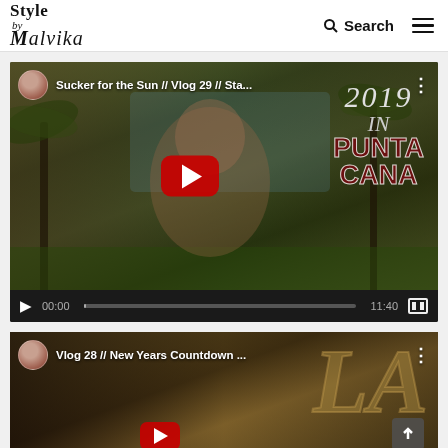Style by Malvika — Search — Menu
[Figure (screenshot): Embedded YouTube video player showing 'Sucker for the Sun // Vlog 29 // Sta...' with a thumbnail of a woman in glasses in a tropical location with '2019 IN PUNTA CANA' text overlay. Play button visible. Controls show 00:00 / 11:40.]
[Figure (screenshot): Embedded YouTube video player showing 'Vlog 28 // New Years Countdown ...' with a thumbnail of a woman and large stylized 'LA' letters in background.]